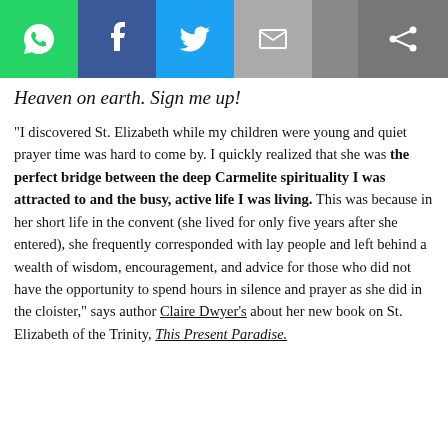[Figure (infographic): Social media sharing bar with icons for WhatsApp (green), Facebook (blue), Twitter (light blue), email (grey), and a share icon on the right (dark grey)]
Heaven on earth. Sign me up!
“I discovered St. Elizabeth while my children were young and quiet prayer time was hard to come by. I quickly realized that she was the perfect bridge between the deep Carmelite spirituality I was attracted to and the busy, active life I was living. This was because in her short life in the convent (she lived for only five years after she entered), she frequently corresponded with lay people and left behind a wealth of wisdom, encouragement, and advice for those who did not have the opportunity to spend hours in silence and prayer as she did in the cloister,” says author Claire Dwyer’s about her new book on St. Elizabeth of the Trinity, This Present Paradise.